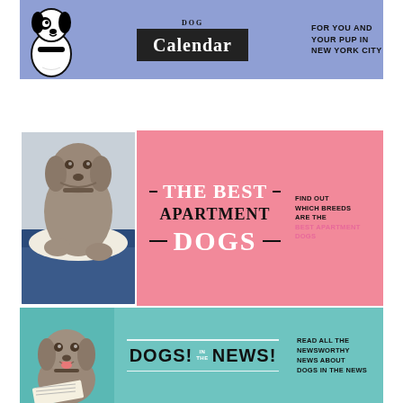[Figure (illustration): Blue/purple banner with cartoon dog illustration on left, dark box with 'Calendar' text in center, and text 'FOR YOU AND YOUR PUP IN NEW YORK CITY' on right]
[Figure (illustration): Pink banner with Weimaraner dog photo on left, bold text 'THE BEST APARTMENT DOGS' in center with decorative dashes, and text 'FIND OUT WHICH BREEDS ARE THE BEST APARTMENT DOGS' on right]
[Figure (illustration): Teal/mint banner with Weimaraner dog photo on left, bold text 'DOGS! IN THE NEWS!' in center with horizontal white lines, and text 'READ ALL THE NEWSWORTHY NEWS ABOUT DOGS IN THE NEWS' on right]